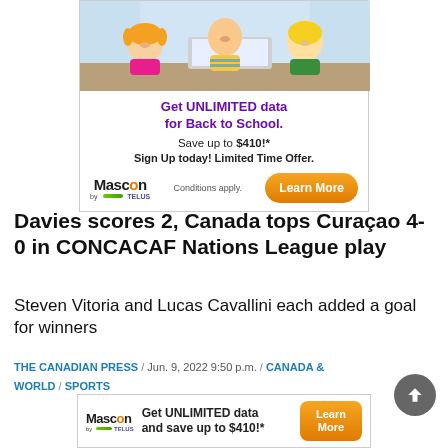[Figure (photo): Advertisement banner: Children looking at a laptop with an apple on it, promoting Mascon by TELUS unlimited data for Back to School. Save up to $410!* Sign Up today! Limited Time Offer. Conditions apply. Learn More button.]
Davies scores 2, Canada tops Curaçao 4-0 in CONCACAF Nations League play
Steven Vitoria and Lucas Cavallini each added a goal for winners
THE CANADIAN PRESS / Jun. 9, 2022 9:50 p.m. / CANADA & WORLD / SPORTS
[Figure (infographic): Advertisement banner (small): Mascon by TELUS logo. Get UNLIMITED data and save up to $410!* Learn More button.]